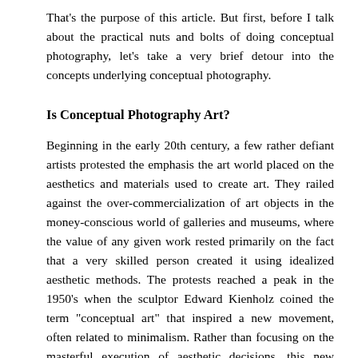That’s the purpose of this article. But first, before I talk about the practical nuts and bolts of doing conceptual photography, let’s take a very brief detour into the concepts underlying conceptual photography.
Is Conceptual Photography Art?
Beginning in the early 20th century, a few rather defiant artists protested the emphasis the art world placed on the aesthetics and materials used to create art. They railed against the over-commercialization of art objects in the money-conscious world of galleries and museums, where the value of any given work rested primarily on the fact that a very skilled person created it using idealized aesthetic methods. The protests reached a peak in the 1950’s when the sculptor Edward Kienholz coined the term “conceptual art” that inspired a new movement, often related to minimalism. Rather than focusing on the masterful execution of aesthetic decisions, this new movement emphasized the CONCEPT that gives rise to a work of art. It wasn’t so much the visual beauty of the piece that was important, or the materials and techniques used, but rather the idea it expresses. In the often cited